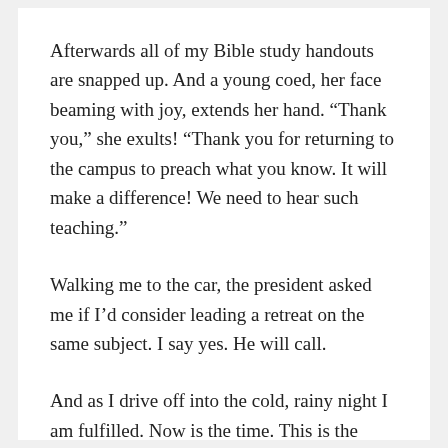Afterwards all of my Bible study handouts are snapped up. And a young coed, her face beaming with joy, extends her hand. “Thank you,” she exults! “Thank you for returning to the campus to preach what you know. It will make a difference! We need to hear such teaching.”
Walking me to the car, the president asked me if I’d consider leading a retreat on the same subject. I say yes. He will call.
And as I drive off into the cold, rainy night I am fulfilled. Now is the time. This is the ministry. I am the man. And Jesus is the Christ.